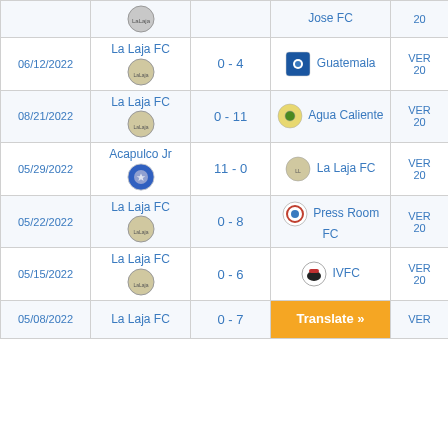| Date | Home Team | Score | Away Team | Link |
| --- | --- | --- | --- | --- |
|  |  |  | Jose FC | 20 |
| 06/12/2022 | La Laja FC | 0 - 4 | Guatemala | VER 20 |
| 08/21/2022 | La Laja FC | 0 - 11 | Agua Caliente | VER 20 |
| 05/29/2022 | Acapulco Jr | 11 - 0 | La Laja FC | VER 20 |
| 05/22/2022 | La Laja FC | 0 - 8 | Press Room FC | VER 20 |
| 05/15/2022 | La Laja FC | 0 - 6 | IVFC | VER 20 |
| 05/08/2022 | La Laja FC | 0 - 7 |  | VER |